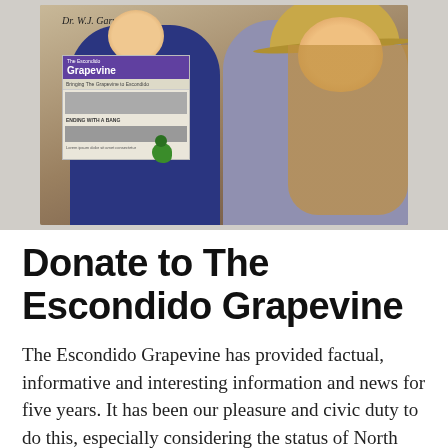[Figure (photo): Two people posing outdoors. A man in a navy blue t-shirt with the number 85 holds up a copy of The Escondido Grapevine newspaper and has a small green parrot on his hand. A woman wearing a cowboy hat stands beside him smiling. A sign reading 'Dr. W.J. Garvin' is visible in the background.]
Donate to The Escondido Grapevine
The Escondido Grapevine has provided factual, informative and interesting information and news for five years. It has been our pleasure and civic duty to do this, especially considering the status of North County as a news desert given the demise of The